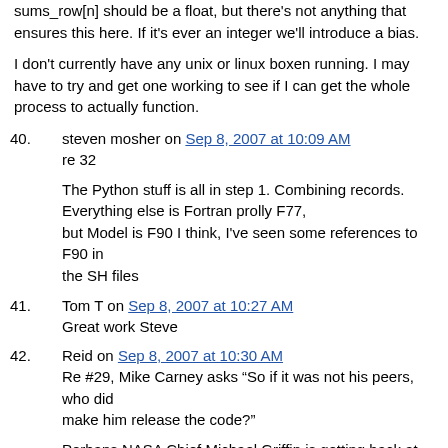sums_row[n] should be a float, but there's not anything that ensures this here. If it's ever an integer we'll introduce a bias.
I don't currently have any unix or linux boxen running. I may have to try and get one working to see if I can get the whole process to actually function.
40. steven mosher on Sep 8, 2007 at 10:09 AM
re 32
The Python stuff is all in step 1. Combining records. Everything else is Fortran prolly F77, but Model is F90 I think, I've seen some references to F90 in the SH files
41. Tom T on Sep 8, 2007 at 10:27 AM
Great work Steve
42. Reid on Sep 8, 2007 at 10:30 AM
Re #29, Mike Carney asks “So if it was not his peers, who did make him release the code?”
Perhaps NASA Chief Michael Griffin is getting back at Hansen. Hansen attacked Griffin earlier in the year for expressing skepticism.
43. ...